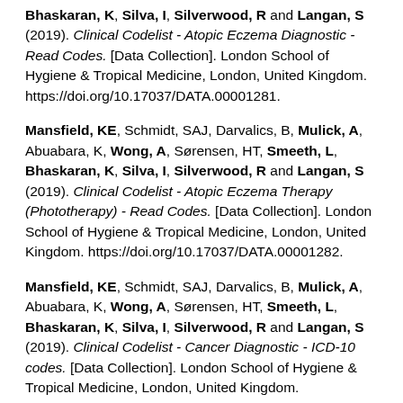Bhaskaran, K, Silva, I, Silverwood, R and Langan, S (2019). Clinical Codelist - Atopic Eczema Diagnostic - Read Codes. [Data Collection]. London School of Hygiene & Tropical Medicine, London, United Kingdom. https://doi.org/10.17037/DATA.00001281.
Mansfield, KE, Schmidt, SAJ, Darvalics, B, Mulick, A, Abuabara, K, Wong, A, Sørensen, HT, Smeeth, L, Bhaskaran, K, Silva, I, Silverwood, R and Langan, S (2019). Clinical Codelist - Atopic Eczema Therapy (Phototherapy) - Read Codes. [Data Collection]. London School of Hygiene & Tropical Medicine, London, United Kingdom. https://doi.org/10.17037/DATA.00001282.
Mansfield, KE, Schmidt, SAJ, Darvalics, B, Mulick, A, Abuabara, K, Wong, A, Sørensen, HT, Smeeth, L, Bhaskaran, K, Silva, I, Silverwood, R and Langan, S (2019). Clinical Codelist - Cancer Diagnostic - ICD-10 codes. [Data Collection]. London School of Hygiene & Tropical Medicine, London, United Kingdom.